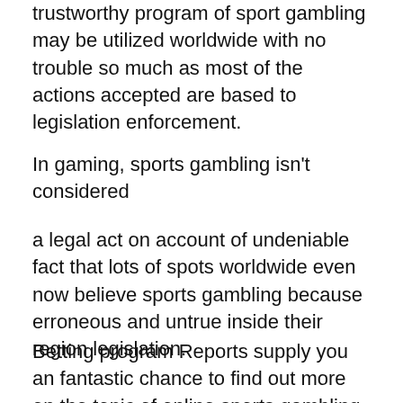trustworthy program of sport gambling may be utilized worldwide with no trouble so much as most of the actions accepted are based to legislation enforcement.
In gaming, sports gambling isn't considered
a legal act on account of undeniable fact that lots of spots worldwide even now believe sports gambling because erroneous and untrue inside their region legislation.
Betting program Reports supply you an fantastic chance to find out more on the topic of online sports gambling plus also they supply you with a fully